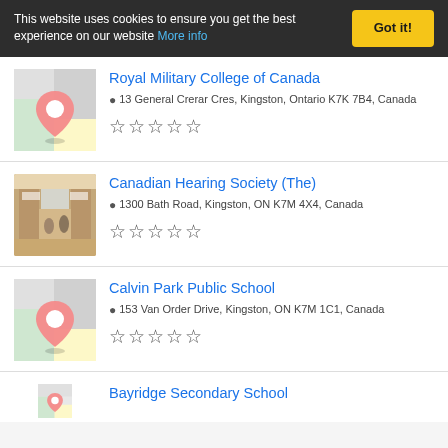This website uses cookies to ensure you get the best experience on our website More info | Got it!
Royal Military College of Canada | 13 General Crerar Cres, Kingston, Ontario K7K 7B4, Canada | 0 stars
Canadian Hearing Society (The) | 1300 Bath Road, Kingston, ON K7M 4X4, Canada | 0 stars
Calvin Park Public School | 153 Van Order Drive, Kingston, ON K7M 1C1, Canada | 0 stars
Bayridge Secondary School